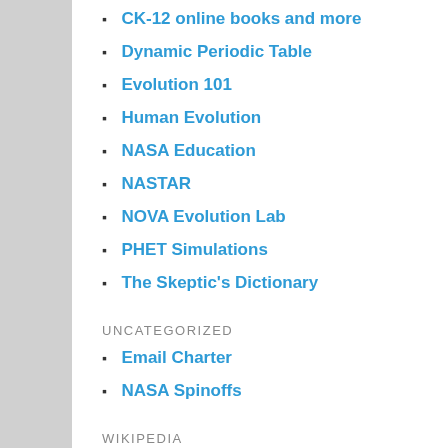CK-12 online books and more
Dynamic Periodic Table
Evolution 101
Human Evolution
NASA Education
NASTAR
NOVA Evolution Lab
PHET Simulations
The Skeptic's Dictionary
UNCATEGORIZED
Email Charter
NASA Spinoffs
WIKIPEDIA
Cosmic Distance Ladder
ARCHIVES
July 2022
March 2022